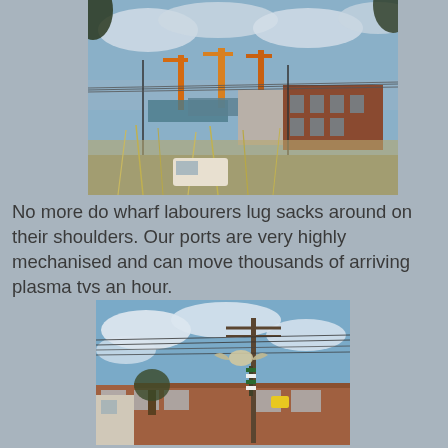[Figure (photo): Aerial/elevated view of a port/industrial area with orange cranes, shipping containers, warehouses, a brick building, power lines, and dry grasses in the foreground under a partly cloudy sky.]
No more do wharf labourers lug sacks around on their shoulders. Our ports are very highly mechanised and can move thousands of arriving plasma tvs an hour.
[Figure (photo): Street-level photo of a brick warehouse building with a utility pole and power lines. A decorative sculpture (bird-like figure) is mounted on a pole above the building under a blue sky with clouds.]